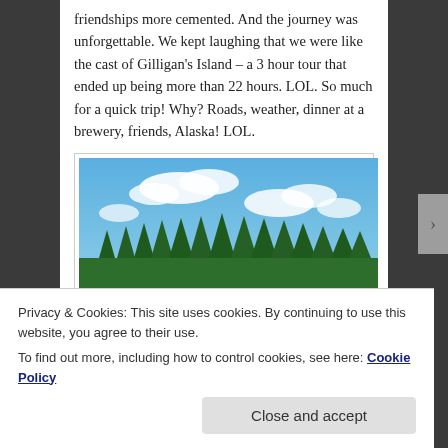friendships more cemented. And the journey was unforgettable. We kept laughing that we were like the cast of Gilligan's Island – a 3 hour tour that ended up being more than 22 hours. LOL. So much for a quick trip! Why? Roads, weather, dinner at a brewery, friends, Alaska! LOL.
[Figure (photo): Outdoor photo of black cattle grazing in a golden field with a line of tall green conifer trees in the middle ground and a bright blue sky with white clouds above.]
Privacy & Cookies: This site uses cookies. By continuing to use this website, you agree to their use.
To find out more, including how to control cookies, see here: Cookie Policy